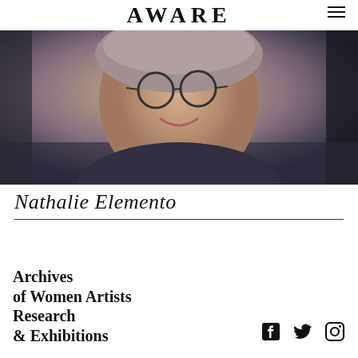AWARE
[Figure (photo): Close-up photograph of a woman with glasses and short grey hair, smiling, wearing a dark jacket]
Nathalie Elemento
Archives of Women Artists Research & Exhibitions